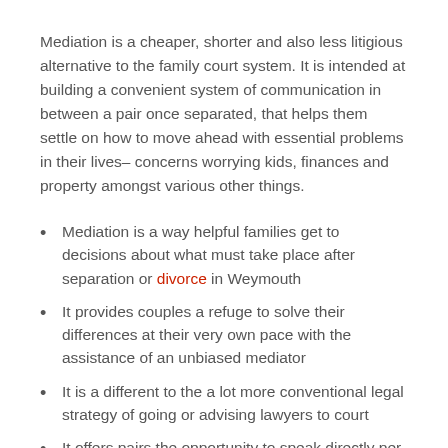Mediation is a cheaper, shorter and also less litigious alternative to the family court system. It is intended at building a convenient system of communication in between a pair once separated, that helps them settle on how to move ahead with essential problems in their lives– concerns worrying kids, finances and property amongst various other things.
Mediation is a way helpful families get to decisions about what must take place after separation or divorce in Weymouth
It provides couples a refuge to solve their differences at their very own pace with the assistance of an unbiased mediator
It is a different to the a lot more conventional legal strategy of going or advising lawyers to court
It offers pairs the opportunity to speak directly per